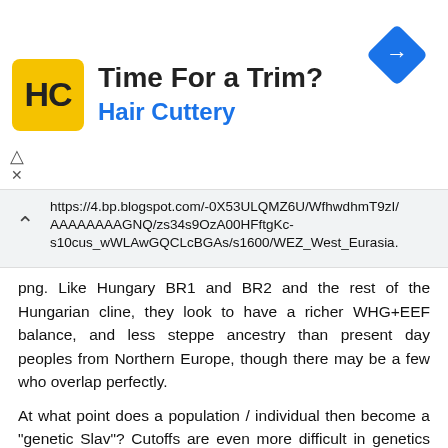[Figure (infographic): Advertisement banner for Hair Cuttery with HC logo on yellow background, title 'Time For a Trim?', subtitle 'Hair Cuttery' in blue, and a blue diamond navigation arrow icon on the right.]
https://4.bp.blogspot.com/-0X53ULQMZ6U/WfhwdhmT9zI/AAAAAAAAGNQ/zs34s9OzA00HFftgKc-s10cus_wWLAwGQCLcBGAs/s1600/WEZ_West_Eurasia.png. Like Hungary BR1 and BR2 and the rest of the Hungarian cline, they look to have a richer WHG+EEF balance, and less steppe ancestry than present day peoples from Northern Europe, though there may be a few who overlap perfectly.
At what point does a population / individual then become a "genetic Slav"? Cutoffs are even more difficult in genetics than language, not because we have no evidence, but because the what evidence we have will not be amenable to clear cutoff points when they are part of a continuous process of development and change (language or genetics!).
It might be easier to just say that these individuals we find